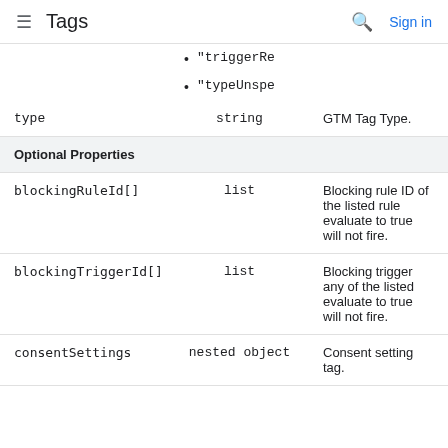Tags | Sign in
"triggerRe
"typeUnspe
| Property | Type | Description |
| --- | --- | --- |
| type | string | GTM Tag Type. |
| Optional Properties |  |  |
| blockingRuleId[] | list | Blocking rule ID of the listed rule evaluate to true will not fire. |
| blockingTriggerId[] | list | Blocking trigger any of the listed evaluate to true will not fire. |
| consentSettings | nested object | Consent setting tag. |